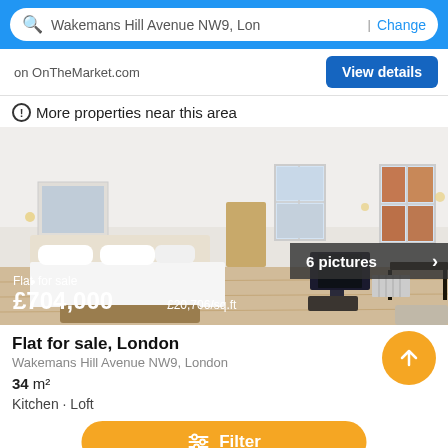Wakemans Hill Avenue NW9, Lon | Change
on OnTheMarket.com
View details
More properties near this area
[Figure (photo): Interior photo of a flat/studio room with a bed, TV, desk, windows, and wooden floor. Shows '6 pictures' badge. Overlay text: Flat · for sale, £704,000 £20,706/sq.ft]
Flat for sale, London
Wakemans Hill Avenue NW9, London
34 m²
Kitchen · Loft
Filter